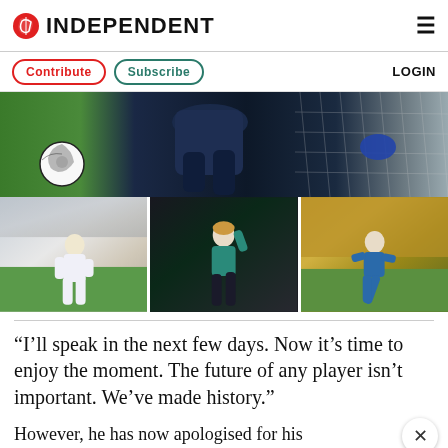Independent
Contribute  Subscribe  LOGIN
[Figure (photo): Large cropped photo of a goalkeeper diving to save a football/soccer ball near the goal net]
[Figure (photo): Three smaller football/soccer photos side by side: left - player in white kit dribbling, center - player in teal shirt with hand raised, right - player in blue kit kicking]
“I’ll speak in the next few days. Now it’s time to enjoy the moment. The future of any player isn’t important. We’ve made history.”
However, he has now apologised for his